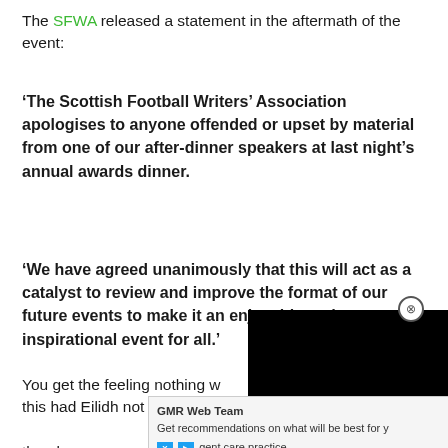The SFWA released a statement in the aftermath of the event:
‘The Scottish Football Writers’ Association apologises to anyone offended or upset by material from one of our after-dinner speakers at last night’s annual awards dinner.
‘We have agreed unanimously that this will act as a catalyst to review and improve the format of our future events to make it an enjoyable and inspirational event for all.’
You get the feeling nothing w... about this had Eilidh not spo... journa... bout the ol...